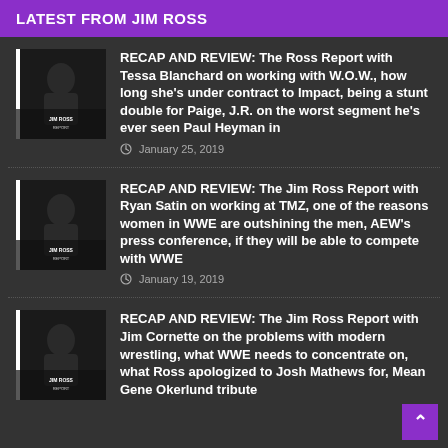LATEST FROM JIM ROSS
[Figure (photo): Jim Ross Report podcast logo/thumbnail showing a man in black against dark background]
RECAP AND REVIEW: The Ross Report with Tessa Blanchard on working with W.O.W., how long she's under contract to Impact, being a stunt double for Paige, J.R. on the worst segment he's ever seen Paul Heyman in
January 25, 2019
[Figure (photo): Jim Ross Report podcast logo/thumbnail showing a man in black against dark background]
RECAP AND REVIEW: The Jim Ross Report with Ryan Satin on working at TMZ, one of the reasons women in WWE are outshining the men, AEW's press conference, if they will be able to compete with WWE
January 19, 2019
[Figure (photo): Jim Ross Report podcast logo/thumbnail showing a man in black against dark background]
RECAP AND REVIEW: The Jim Ross Report with Jim Cornette on the problems with modern wrestling, what WWE needs to concentrate on, what Ross apologized to Josh Mathews for, Mean Gene Okerlund tribute